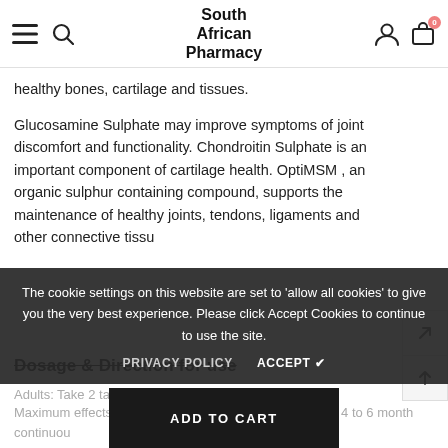South African Pharmacy
healthy bones, cartilage and tissues.
Glucosamine Sulphate may improve symptoms of joint discomfort and functionality. Chondroitin Sulphate is an important component of cartilage health. OptiMSM , an organic sulphur containing compound, supports the maintenance of healthy joints, tendons, ligaments and other connective tissu
Dosage & Direction for use
Adults: Take 2 tablets daily.
Maximum effects at joint support are normally seen after 4 to 6 month continuous
The cookie settings on this website are set to 'allow all cookies' to give you the very best experience. Please click Accept Cookies to continue to use the site.